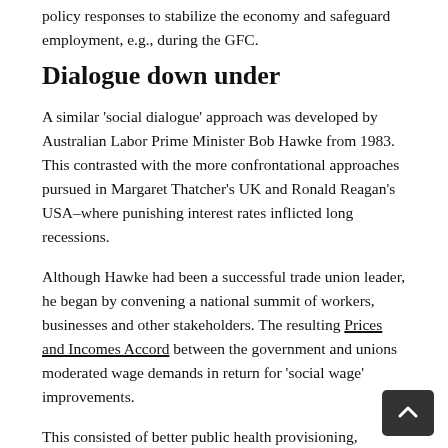policy responses to stabilize the economy and safeguard employment, e.g., during the GFC.
Dialogue down under
A similar ‘social dialogue’ approach was developed by Australian Labor Prime Minister Bob Hawke from 1983. This contrasted with the more confrontational approaches pursued in Margaret Thatcher’s UK and Ronald Reagan’s USA–where punishing interest rates inflicted long recessions.
Although Hawke had been a successful trade union leader, he began by convening a national summit of workers, businesses and other stakeholders. The resulting Prices and Incomes Accord between the government and unions moderated wage demands in return for ‘social wage’ improvements.
This consisted of better public health provisioning, pension and unemployment benefit improvements, ta cuts and (superannuation) involving required employ